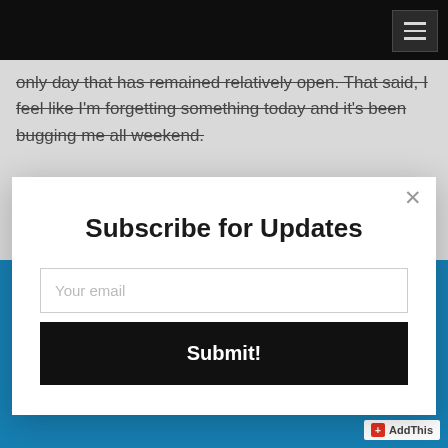Navigation bar with hamburger menu
only day that has remained relatively open. That said, I feel like I'm forgetting something today and it's been bugging me all weekend.
[Figure (screenshot): Subscribe for Updates modal dialog with email input field and Submit button, overlaid on a webpage with a blue bottom section and AddThis widget]